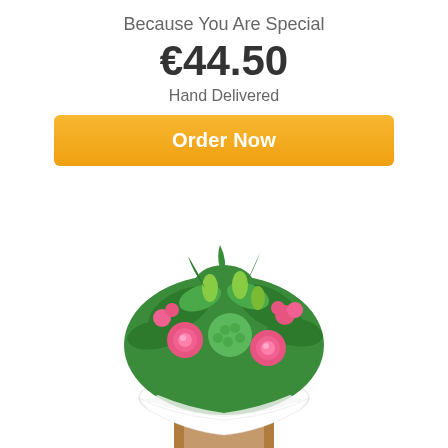Because You Are Special
€44.50
Hand Delivered
Order Now
[Figure (photo): A flower bouquet with pink roses, green flowers, and mixed greenery wrapped in white paper and placed in a brown kraft gift bag with rope handles, on a white background.]